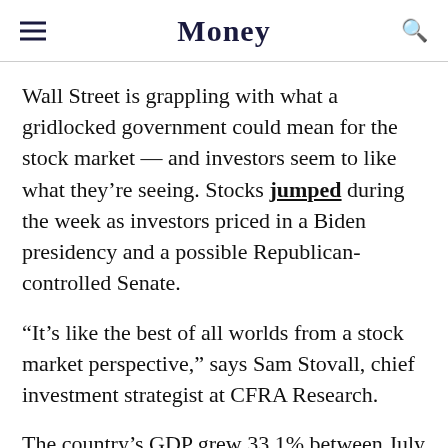Money
Wall Street is grappling with what a gridlocked government could mean for the stock market — and investors seem to like what they're seeing. Stocks jumped during the week as investors priced in a Biden presidency and a possible Republican-controlled Senate.
“It’s like the best of all worlds from a stock market perspective,” says Sam Stovall, chief investment strategist at CFRA Research.
The country’s GDP grew 33.1% between July